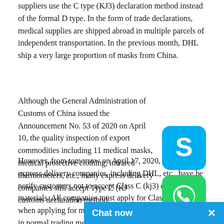suppliers use the C type (KJ3) declaration method instead of the formal D type. In the form of trade declarations, medical supplies are shipped abroad in multiple parcels of independent transportation. In the previous month, DHL ship a very large proportion of masks from China.
Although the General Administration of Customs of China issued the Announcement No. 53 of 2020 on April 10, the quality inspection of export commodities including 11 medical masks, medical protective clothing, infrared thermometers, etc., many express delivery companies still accept Type C (KJ3) customs declaration method.
[Figure (logo): Skype logo icon — blue rounded square with white 'S']
[Figure (logo): WhatsApp logo icon — green rounded square with white phone/speech bubble]
However, from tomorrow on April 17, 2020, international express delivery companies, including DHL, etc., have been notify customers not to accept Class C (kj3) export of medical materials. All companies must apply for Class D masks when applying for medical masks. Customs declarations in normal trading methods are required, and confirmation is provided to prevent problems such as att...
Chat now